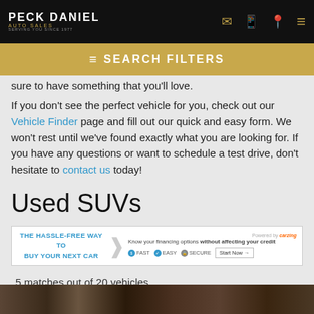PECK DANIEL AUTO SALES — Navigation header with logo and icons
SEARCH FILTERS
sure to have something that you'll love.
If you don't see the perfect vehicle for you, check out our Vehicle Finder page and fill out our quick and easy form. We won't rest until we've found exactly what you are looking for. If you have any questions or want to schedule a test drive, don't hesitate to contact us today!
Used SUVs
[Figure (other): Carzing advertisement banner: THE HASSLE-FREE WAY TO BUY YOUR NEXT CAR. Know your financing options without affecting your credit. FAST, EASY, SECURE badges. Start Now button.]
5 matches out of 20 vehicles.
SORT: YEAR ^ MAKE ^ MILEAGE ^ PRICE ^
[Figure (photo): Bottom partial photo strip of a vehicle]